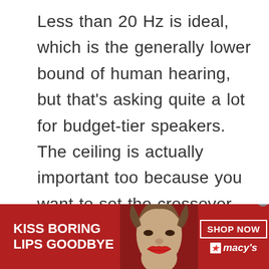Less than 20 Hz is ideal, which is the generally lower bound of human hearing, but that’s asking quite a lot for budget-tier speakers. The ceiling is actually important too because you want to set the crossover point high enough to where the main speakers are really optimized for reproducing the mids and highs.
[Figure (other): Macy's advertisement banner with red background, woman's face with red lipstick, text 'KISS BORING LIPS GOODBYE', 'SHOP NOW' button, and Macy's star logo]